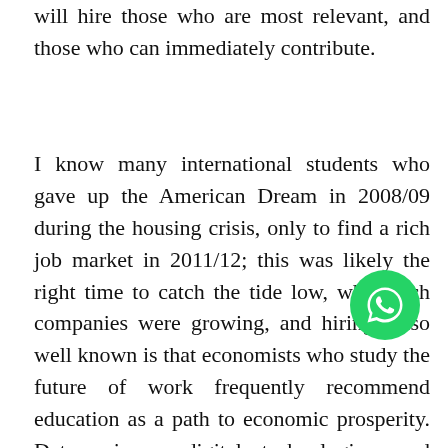will hire those who are most relevant, and those who can immediately contribute.
I know many international students who gave up the American Dream in 2008/09 during the housing crisis, only to find a rich job market in 2011/12; this was likely the right time to catch the tide low, when tech companies were growing, and hiring. Also well known is that economists who study the future of work frequently recommend education as a path to economic prosperity. Data science, digital technologies, and cross-cultural acumen are skills that will be in demand in the future. Also, I have always held the belief that specialization, whether it is